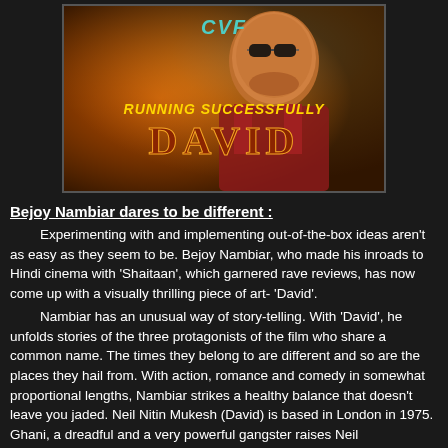[Figure (photo): Movie poster for 'David' showing a man with sunglasses, orange/yellow background, text 'CVF', 'RUNNING SUCCESSFULLY', and 'DAVID' in large stylized letters]
Bejoy Nambiar dares to be different :
Experimenting with and implementing out-of-the-box ideas aren't as easy as they seem to be. Bejoy Nambiar, who made his inroads to Hindi cinema with 'Shaitaan', which garnered rave reviews, has now come up with a visually thrilling piece of art- 'David'.
Nambiar has an unusual way of story-telling. With 'David', he unfolds stories of the three protagonists of the film who share a common name. The times they belong to are different and so are the places they hail from. With action, romance and comedy in somewhat proportional lengths, Nambiar strikes a healthy balance that doesn't leave you jaded. Neil Nitin Mukesh (David) is based in London in 1975. Ghani, a dreadful and a very powerful gangster raises Neil